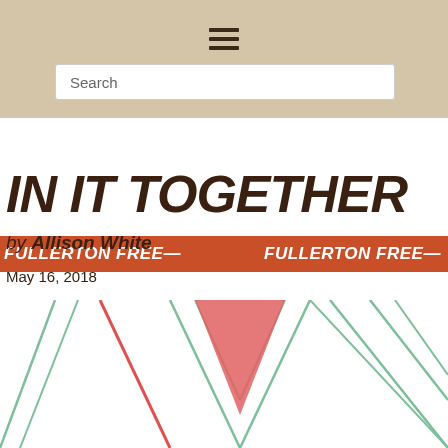☰
Search
FULLERTON FREE— FULLERTON FREE—
IN IT TOGETHER
by Allison White
May 16, 2018
[Figure (illustration): Decorative geometric illustration with overlapping downward-pointing V/chevron shapes in red/salmon, green/mint outline lines on white background]